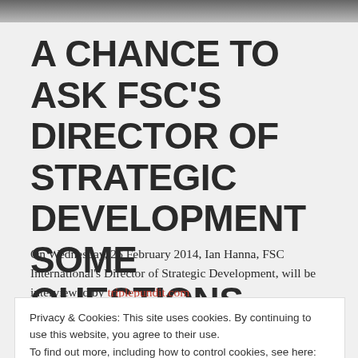[Figure (photo): Dark header image bar at top of web page]
A CHANCE TO ASK FSC'S DIRECTOR OF STRATEGIC DEVELOPMENT SOME QUESTIONS
On Wednesday, 26 February 2014, Ian Hanna, FSC International's Director of Strategic Development, will be interviewed by triplepundit.com
Privacy & Cookies: This site uses cookies. By continuing to use this website, you agree to their use.
To find out more, including how to control cookies, see here: Cookie Policy
Close and accept
Goal 1: Advance globally responsible forest management